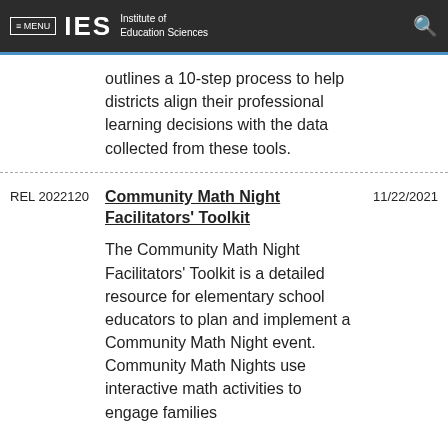≡ MENU  IES  Institute of Education Sciences
outlines a 10-step process to help districts align their professional learning decisions with the data collected from these tools.
| ID | Title/Description | Date |
| --- | --- | --- |
| REL 2022120 | Community Math Night Facilitators' Toolkit

The Community Math Night Facilitators' Toolkit is a detailed resource for elementary school educators to plan and implement a Community Math Night event. Community Math Nights use interactive math activities to engage families | 11/22/2021 |